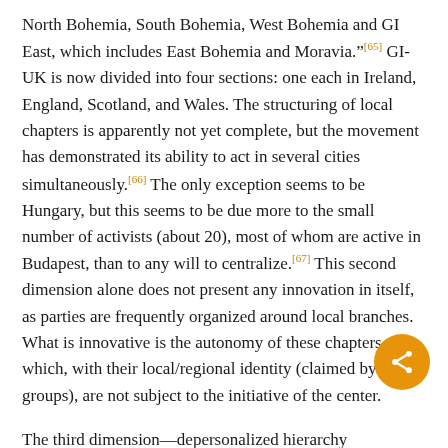North Bohemia, South Bohemia, West Bohemia and GI East, which includes East Bohemia and Moravia."[65] GI-UK is now divided into four sections: one each in Ireland, England, Scotland, and Wales. The structuring of local chapters is apparently not yet complete, but the movement has demonstrated its ability to act in several cities simultaneously.[66] The only exception seems to be Hungary, but this seems to be due more to the small number of activists (about 20), most of whom are active in Budapest, than to any will to centralize.[67] This second dimension alone does not present any innovation in itself, as parties are frequently organized around local branches. What is innovative is the autonomy of these chapters, which, with their local/regional identity (claimed by all the groups), are not subject to the initiative of the center.

The third dimension—depersonalized hierarchy